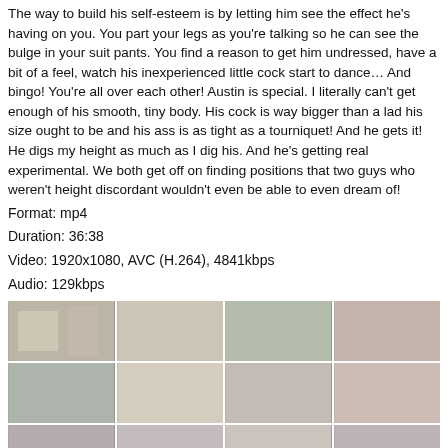The way to build his self-esteem is by letting him see the effect he's having on you. You part your legs as you're talking so he can see the bulge in your suit pants. You find a reason to get him undressed, have a bit of a feel, watch his inexperienced little cock start to dance… And bingo! You're all over each other! Austin is special. I literally can't get enough of his smooth, tiny body. His cock is way bigger than a lad his size ought to be and his ass is as tight as a tourniquet! And he gets it! He digs my height as much as I dig his. And he's getting real experimental. We both get off on finding positions that two guys who weren't height discordant wouldn't even be able to even dream of!
Format: mp4
Duration: 36:38
Video: 1920x1080, AVC (H.264), 4841kbps
Audio: 129kbps
[Figure (photo): Grid of 16 video thumbnail screenshots arranged in 4 columns and 4 rows]